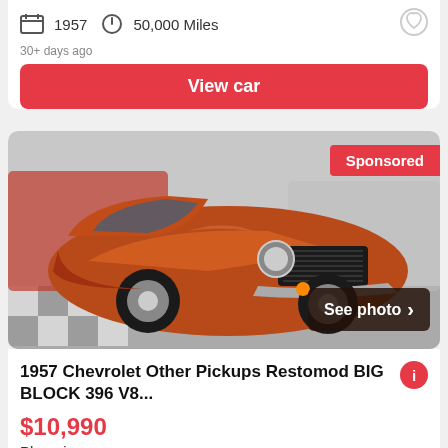1957  50,000 Miles
30+ days ago
View car
[Figure (photo): Orange 1957 Chevrolet pickup truck restomod with custom grille shown in a showroom setting]
Sponsored
See photo >
1957 Chevrolet Other Pickups Restomod BIG BLOCK 396 V8...
$10,990
Phoenix
1957  410 Miles
View car